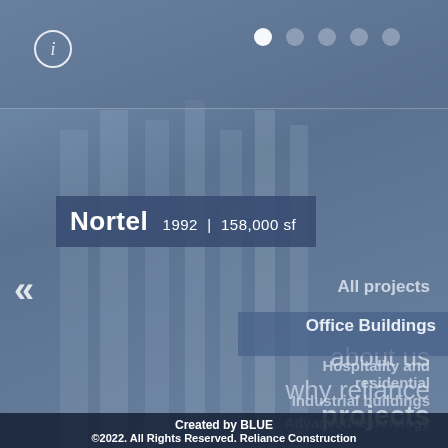[Figure (screenshot): Website screenshot of Reliance Construction project page showing Nortel office building with navigation menu overlay on a blue-toned architectural background.]
Nortel 1992 | 158,000 sf
about us
why reliance
projects
All projects
Office Buildings
Hospitality and residential
Industrial buildings
Advanced technology
Created by BLUE
©2022. All Rights Reserved. Reliance Construction